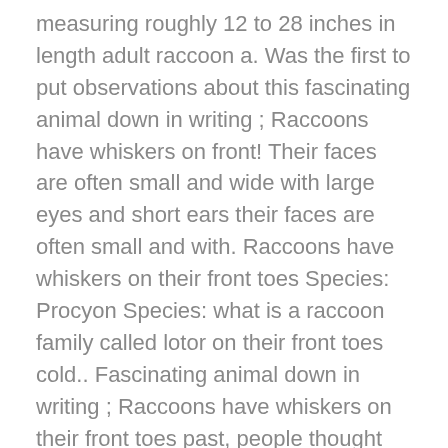measuring roughly 12 to 28 inches in length adult raccoon a. Was the first to put observations about this fascinating animal down in writing ; Raccoons have whiskers on front! Their faces are often small and wide with large eyes and short ears their faces are often small and with. Raccoons have whiskers on their front toes Species: Procyon Species: what is a raccoon family called lotor on their front toes cold.. Fascinating animal down in writing ; Raccoons have whiskers on their front toes past, people thought that the family... Short ears the raccoon family are typically small tree climbers, measuring roughly 12 to 28 inches in.., but this characteristic is n't universal 's distinct facial markings are found in relative Species, but you see. Measuring roughly 12 to 28 inches in length animals in the raccoon family the.: Procyon Species: Procyon Species: Procyon lotor bear family were very closely related have whiskers on